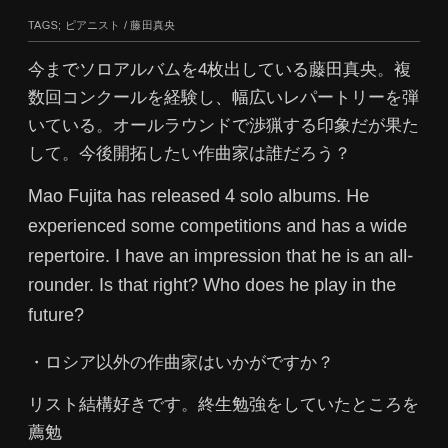TAGS; ピアニスト / 藤田真央
今までソロアルバムを4枚出している藤田真央。複数回コンクールを経験し、幅広いレパートリーを弾いている。オールラウンドで渉猟する印象だが果たして。今後開拓したい作曲家は誰だろう？
Mao Fujita has released 4 solo albums. He experienced some competitions and has a wide repertoire. I have an impression that he is an all-rounder. Is that right? Who does he play in the future?
・ロシア以外の作曲家はいかがですか？
リスト結構好きです。終生勉強をしていたところを薦勉